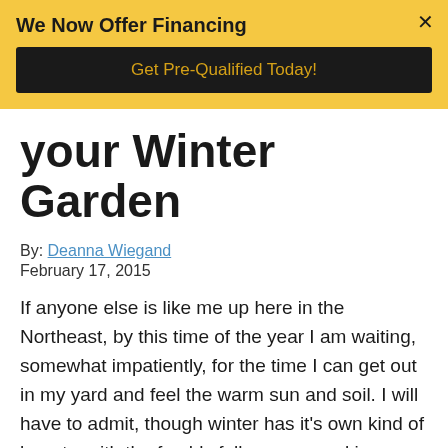[Figure (screenshot): Yellow promotional banner with bold heading 'We Now Offer Financing', a black button labeled 'Get Pre-Qualified Today!' in gold text, and an X close button in the top right corner.]
your Winter Garden
By: Deanna Wiegand
February 17, 2015
If anyone else is like me up here in the Northeast, by this time of the year I am waiting, somewhat impatiently, for the time I can get out in my yard and feel the warm sun and soil. I will have to admit, though winter has it's own kind of beauty, with the freshly fallen snow making everything seem new and fresh, it can also be long and cold, and thinking of warmer days to come somehow gets me through. Thinking about spring and what to plant in my garden